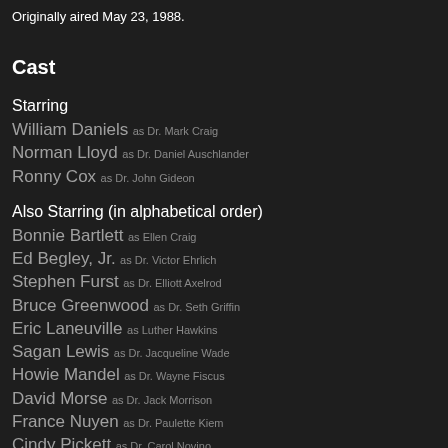Originally aired May 23, 1988.
Cast
Starring
William Daniels as Dr. Mark Craig
Norman Lloyd as Dr. Daniel Auschlander
Ronny Cox as Dr. John Gideon
Also Starring (in alphabetical order)
Bonnie Bartlett as Ellen Craig
Ed Begley, Jr. as Dr. Victor Ehrlich
Stephen Furst as Dr. Elliott Axelrod
Bruce Greenwood as Dr. Seth Griffin
Eric Laneuville as Luther Hawkins
Sagan Lewis as Dr. Jacqueline Wade
Howie Mandel as Dr. Wayne Fiscus
David Morse as Dr. Jack Morrison
France Nuyen as Dr. Paulette Kiem
Cindy Pickett as Dr. Carol Novino